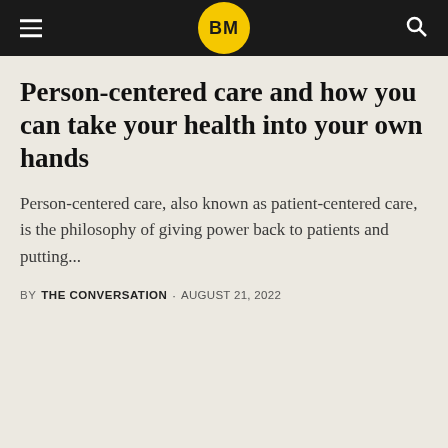BM
Person-centered care and how you can take your health into your own hands
Person-centered care, also known as patient-centered care, is the philosophy of giving power back to patients and putting...
BY THE CONVERSATION · AUGUST 21, 2022